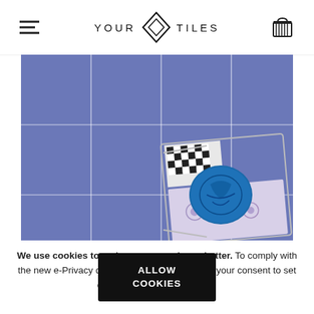YOUR TILES (logo with hamburger menu and cart)
[Figure (photo): Overhead photo of blue geometric hexagonal tiles with white starburst pattern, with a decorative tray containing a blue ceramic bowl and patterned tiles in the lower right.]
We use cookies to make your experience better. To comply with the new e-Privacy directive, we need to ask for your consent to set certain cookies. Learn more.
ALLOW COOKIES